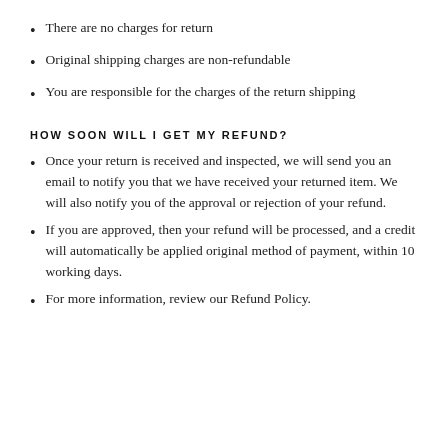There are no charges for return
Original shipping charges are non-refundable
You are responsible for the charges of the return shipping
HOW SOON WILL I GET MY REFUND?
Once your return is received and inspected, we will send you an email to notify you that we have received your returned item. We will also notify you of the approval or rejection of your refund.
If you are approved, then your refund will be processed, and a credit will automatically be applied original method of payment, within 10 working days.
For more information, review our Refund Policy.